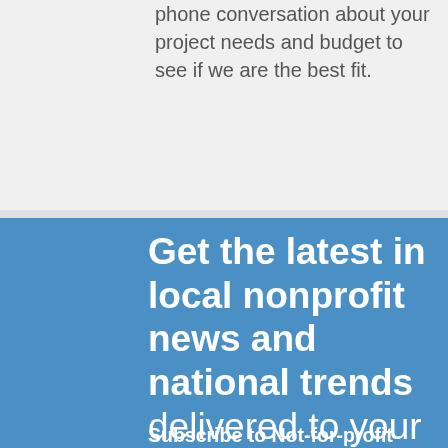phone conversation about your project needs and budget to see if we are the best fit.
Get the latest in local nonprofit news and national trends delivered to your inbox each week. Subscribe to Not-for-profit